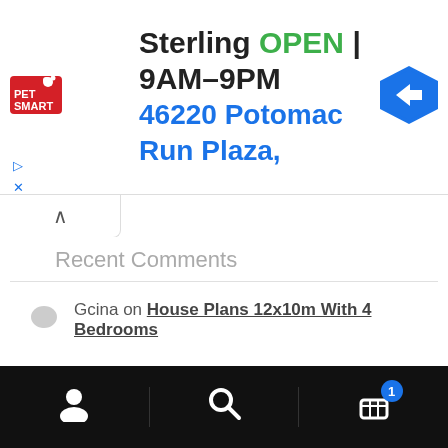[Figure (screenshot): PetSmart advertisement banner showing Sterling location open 9AM-9PM at 46220 Potomac Run Plaza, with navigation arrow icon]
Recent Comments
Gcina on House Plans 12x10m With 4 Bedrooms
Product categories
Select a category
User icon | Search icon | Cart icon (1 item)